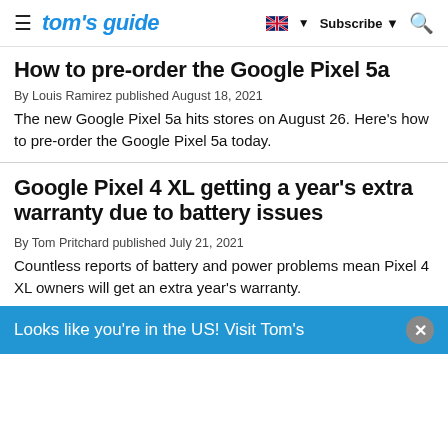tom's guide — Subscribe
How to pre-order the Google Pixel 5a
By Louis Ramirez published August 18, 2021
The new Google Pixel 5a hits stores on August 26. Here's how to pre-order the Google Pixel 5a today.
Google Pixel 4 XL getting a year's extra warranty due to battery issues
By Tom Pritchard published July 21, 2021
Countless reports of battery and power problems mean Pixel 4 XL owners will get an extra year's warranty.
Looks like you're in the US! Visit Tom's